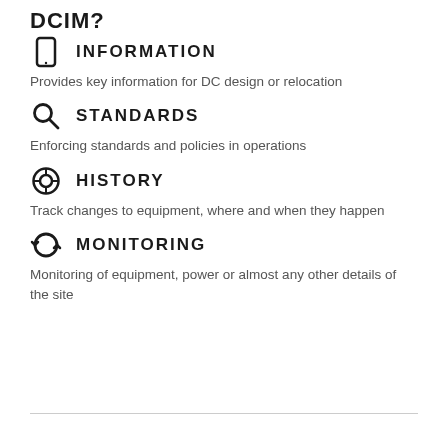DCIM?
INFORMATION
Provides key information for DC design or relocation
STANDARDS
Enforcing standards and policies in operations
HISTORY
Track changes to equipment, where and when they happen
MONITORING
Monitoring of equipment, power or almost any other details of the site